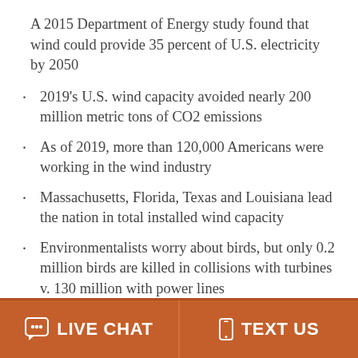A 2015 Department of Energy study found that wind could provide 35 percent of U.S. electricity by 2050
2019's U.S. wind capacity avoided nearly 200 million metric tons of CO2 emissions
As of 2019, more than 120,000 Americans were working in the wind industry
Massachusetts, Florida, Texas and Louisiana lead the nation in total installed wind capacity
Environmentalists worry about birds, but only 0.2 million birds are killed in collisions with turbines v. 130 million with power lines
LIVE CHAT   TEXT US